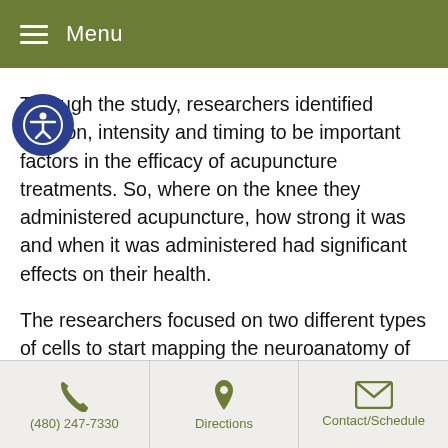Menu
Through the study, researchers identified location, intensity and timing to be important factors in the efficacy of acupuncture treatments. So, where on the knee they administered acupuncture, how strong it was and when it was administered had significant effects on their health.
The researchers focused on two different types of cells to start mapping the neuroanatomy of acupuncture.
Their findings suggest acupuncture could be further integrated into Western medical settings, moving beyond nausea treatment for chemotherapy patients to sepsis treatment for patients in the intensive care unit or targeted therapy for gastrointestinal issues.
(480) 247-7330 | Directions | Contact/Schedule